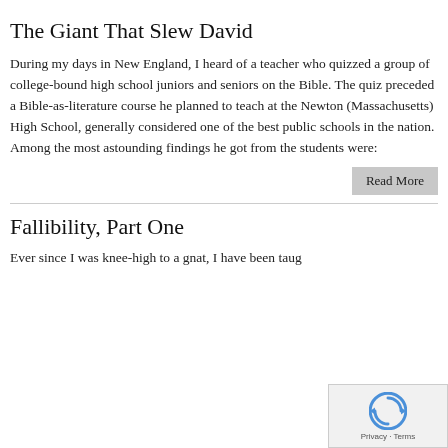The Giant That Slew David
During my days in New England, I heard of a teacher who quizzed a group of college-bound high school juniors and seniors on the Bible. The quiz preceded a Bible-as-literature course he planned to teach at the Newton (Massachusetts) High School, generally considered one of the best public schools in the nation. Among the most astounding findings he got from the students were:
Fallibility, Part One
Ever since I was knee-high to a gnat, I have been taugh...